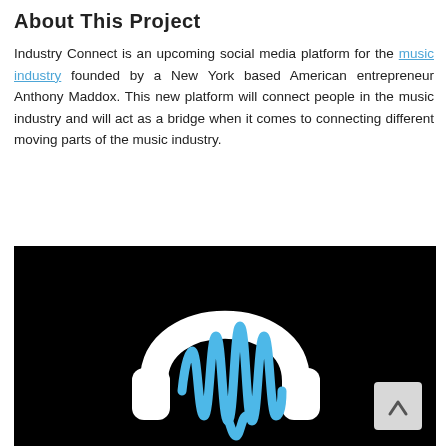About This Project
Industry Connect is an upcoming social media platform for the music industry founded by a New York based American entrepreneur Anthony Maddox. This new platform will connect people in the music industry and will act as a bridge when it comes to connecting different moving parts of the music industry.
[Figure (illustration): Black background with a white headphones icon and a blue audio waveform graphic inside the headphones, along with a light gray scroll-to-top button in the bottom right corner.]